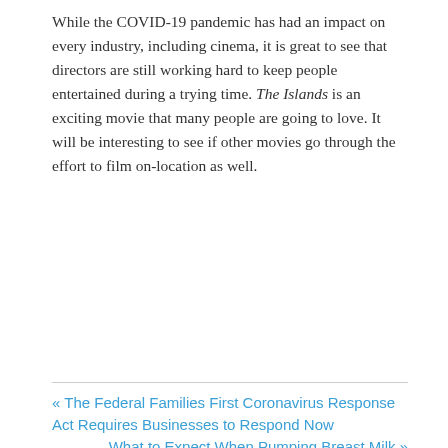While the COVID-19 pandemic has had an impact on every industry, including cinema, it is great to see that directors are still working hard to keep people entertained during a trying time. The Islands is an exciting movie that many people are going to love. It will be interesting to see if other movies go through the effort to film on-location as well.
« The Federal Families First Coronavirus Response Act Requires Businesses to Respond Now
What to Expect When Pumping Breast Milk »